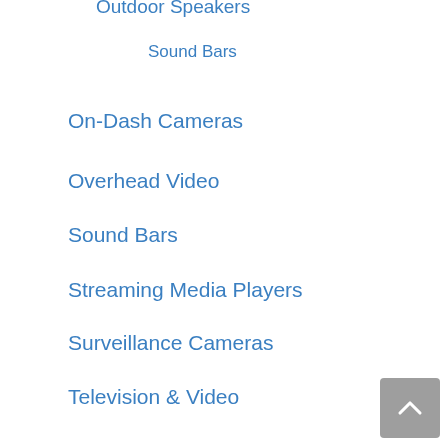Outdoor Speakers (partial, clipped at top)
Sound Bars
On-Dash Cameras
Overhead Video
Sound Bars
Streaming Media Players
Surveillance Cameras
Television & Video
Televisions
LED & LCD TVs
Video Projectors
external hard drive deals
Furniture deals